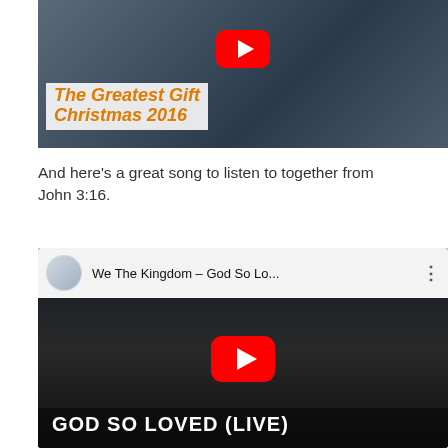[Figure (screenshot): YouTube video thumbnail for 'The Greatest Gift Christmas 2016' showing animated Christmas characters and YouTube play button]
And here's a great song to listen to together from John 3:16.
[Figure (screenshot): YouTube video embed for 'We The Kingdom – God So Lo...' showing a performer singing, with channel icon, video title bar, YouTube play button, and text 'GOD SO LOVED (LIVE)' at bottom]